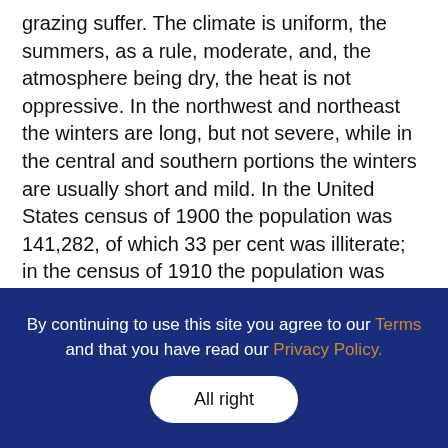grazing suffer. The climate is uniform, the summers, as a rule, moderate, and, the atmosphere being dry, the heat is not oppressive. In the northwest and northeast the winters are long, but not severe, while in the central and southern portions the winters are usually short and mild. In the United States census of 1900 the population was 141,282, of which 33 per cent was illiterate; in the census of 1910 the population was 327,396. About one-half of the inhabitants are of Spanish descent.
The soil in the valleys is a rich and sandy loam, capable, with irrigation, of producing good crops. It is also rich in gold and silver, and important mines have
By continuing to use this site you agree to our Terms and that you have read our Privacy Policy.
All right